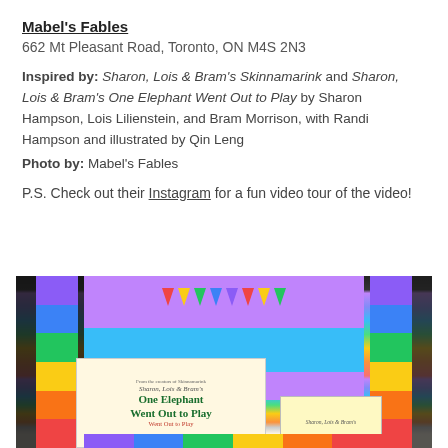Mabel's Fables
662 Mt Pleasant Road, Toronto, ON M4S 2N3
Inspired by: Sharon, Lois & Bram's Skinnamarink and Sharon, Lois & Bram's One Elephant Went Out to Play by Sharon Hampson, Lois Lilienstein, and Bram Morrison, with Randi Hampson and illustrated by Qin Leng
Photo by: Mabel's Fables
P.S. Check out their Instagram for a fun video tour of the video!
[Figure (photo): A colorful book display at Mabel's Fables bookstore featuring rainbow-striped pillars and the book 'One Elephant Went Out to Play' prominently displayed, with bunting flags overhead.]